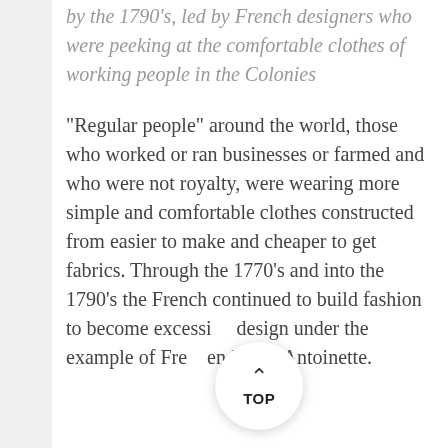by the 1790's, led by French designers who were peeking at the comfortable clothes of working people in the Colonies
“Regular people” around the world, those who worked or ran businesses or farmed and who were not royalty, were wearing more simple and comfortable clothes constructed from easier to make and cheaper to get fabrics. Through the 1770’s and into the 1790’s the French continued to build fashion to become excessi… design under the example of Fre… en Marie Antoinette.